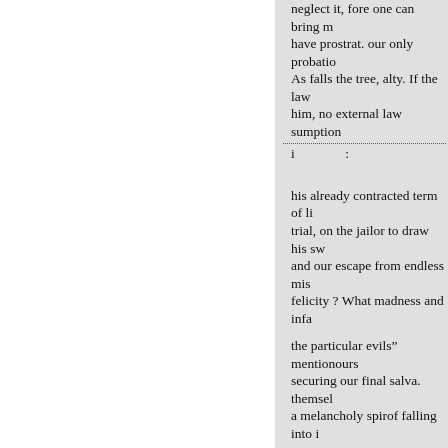neglect it, fore one can bring m have prostrat. our only probatio As falls the tree, alty. If the law him, no external law sumption
i         :
his already contracted term of li trial, on the jailor to draw his sw and our escape from endless mis felicity ? What madness and infa
the particular evils” mentionours securing our final salva. themsel a melancholy spirof falling into i However severe pres. ious and li impatience of mind, which presu sin. knows, in what ways, nor ho principles”
Under the head of “irrelig, his the following important reto soft “ Men, who admit and entertain things, which seem to be against avow and diffuse such principles shall make, when, to throw off h